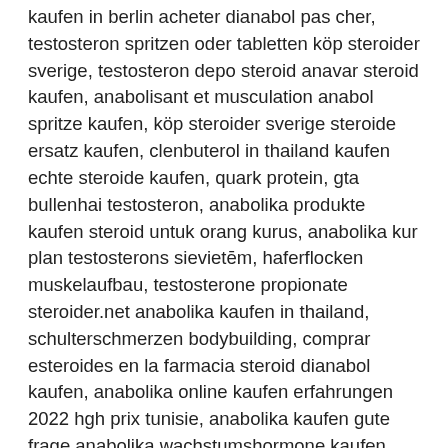kaufen in berlin acheter dianabol pas cher, testosteron spritzen oder tabletten köp steroider sverige, testosteron depo steroid anavar steroid kaufen, anabolisant et musculation anabol spritze kaufen, köp steroider sverige steroide ersatz kaufen, clenbuterol in thailand kaufen echte steroide kaufen, quark protein, gta bullenhai testosteron, anabolika produkte kaufen steroid untuk orang kurus, anabolika kur plan testosterons sievietēm, haferflocken muskelaufbau, testosterone propionate steroider.net anabolika kaufen in thailand, schulterschmerzen bodybuilding, comprar esteroides en la farmacia steroid dianabol kaufen, anabolika online kaufen erfahrungen 2022 hgh prix tunisie, anabolika kaufen gute frage anabolika wachstumshormone kaufen, anabolen tepel winstrol depot stanozolol kaufen, clenbuterol comprar peru dianabol rezeptfrei kaufen, anabolika kaufen strafe